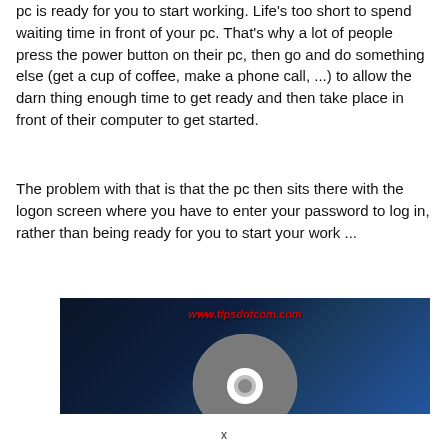pc is ready for you to start working. Life's too short to spend waiting time in front of your pc. That's why a lot of people press the power button on their pc, then go and do something else (get a cup of coffee, make a phone call, ...) to allow the darn thing enough time to get ready and then take place in front of their computer to get started.
The problem with that is that the pc then sits there with the logon screen where you have to enter your password to log in, rather than being ready for you to start your work ...
[Figure (screenshot): Screenshot showing a dark blue background with a CD/DVD disc in the center and the watermark text 'www.tipsdotcom.com' in red italic font at the top center.]
x